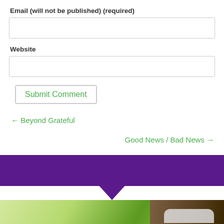Email (will not be published) (required)
Website
Submit Comment
← Beyond Grateful
Good News / Bad News →
[Figure (photo): Purple banner bar with downward pointing arrow/chevron, followed by a nature photograph strip showing green foliage and tree bark with a rounded white/grey card overlay at bottom right]